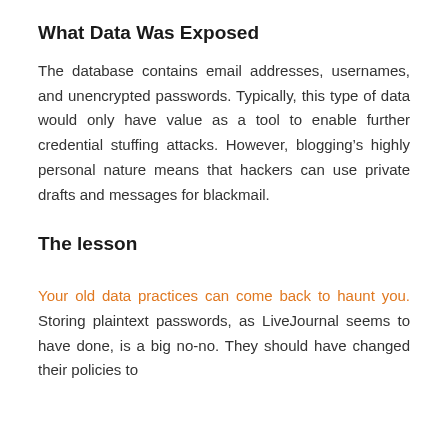What Data Was Exposed
The database contains email addresses, usernames, and unencrypted passwords. Typically, this type of data would only have value as a tool to enable further credential stuffing attacks. However, blogging’s highly personal nature means that hackers can use private drafts and messages for blackmail.
The lesson
Your old data practices can come back to haunt you. Storing plaintext passwords, as LiveJournal seems to have done, is a big no-no. They should have changed their policies to